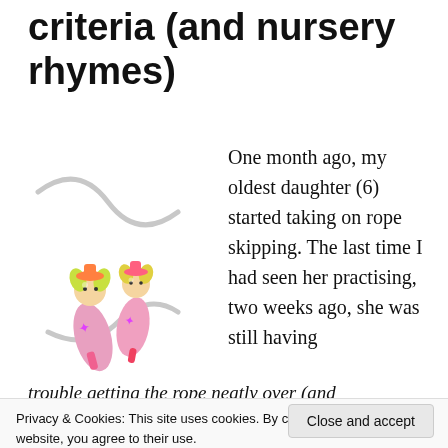criteria (and nursery rhymes)
[Figure (photo): Two wooden skip rope doll toys with blonde hair, pink outfits and jump ropes]
One month ago, my oldest daughter (6) started taking on rope skipping. The last time I had seen her practising, two weeks ago, she was still having
trouble getting the rope neatly over (and
Privacy & Cookies: This site uses cookies. By continuing to use this website, you agree to their use.
To find out more, including how to control cookies, see here:
Cookie Policy
Close and accept